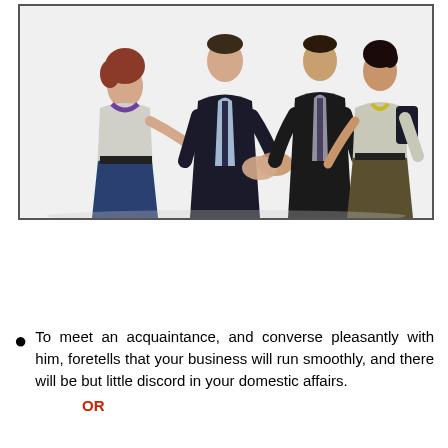[Figure (photo): Four business people shaking hands in pairs — two women in light shirts and two men in dark suits — against a white background, suggesting a professional introduction or meeting.]
To meet an acquaintance, and converse pleasantly with him, foretells that your business will run smoothly, and there will be but little discord in your domestic affairs.
OR